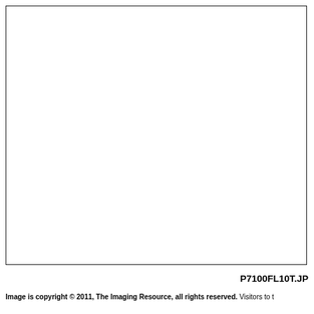[Figure (photo): Large blank white image area with a thin dark border, representing a photographic image placeholder for P7100FL10T.JP]
P7100FL10T.JP
Image is copyright © 2011, The Imaging Resource, all rights reserved. Visitors to t